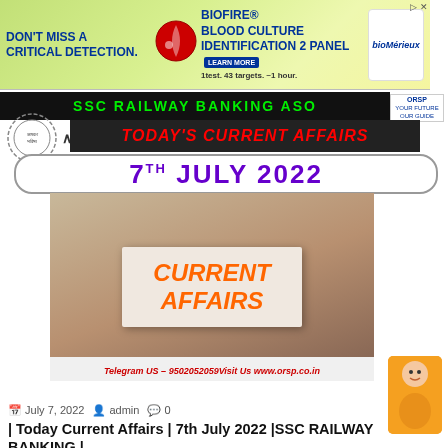[Figure (screenshot): Advertisement banner: DON'T MISS A CRITICAL DETECTION. BioFire Blood Culture Identification 2 Panel. Learn More. bioMérieux logo.]
[Figure (screenshot): SSC RAILWAY BANKING ASO banner with green text on black background]
TODAY'S CURRENT AFFAIRS
7TH JULY 2022
[Figure (photo): Person holding a white card that reads CURRENT AFFAIRS in orange bold text. Telegram US – 9502052059 Visit Us www.orsp.co.in]
July 7, 2022   admin   0
| Today Current Affairs | 7th July 2022 |SSC RAILWAY BANKING |
Post Views: 220 7th JULY 2022 Current Affairs-orsp.co.in We are here for you to provide the…
2022
CURRENT AFFAIRS
Current Affairs.